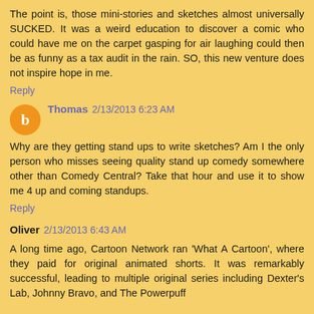The point is, those mini-stories and sketches almost universally SUCKED. It was a weird education to discover a comic who could have me on the carpet gasping for air laughing could then be as funny as a tax audit in the rain. SO, this new venture does not inspire hope in me.
Reply
Thomas 2/13/2013 6:23 AM
Why are they getting stand ups to write sketches? Am I the only person who misses seeing quality stand up comedy somewhere other than Comedy Central? Take that hour and use it to show me 4 up and coming standups.
Reply
Oliver 2/13/2013 6:43 AM
A long time ago, Cartoon Network ran 'What A Cartoon', where they paid for original animated shorts. It was remarkably successful, leading to multiple original series including Dexter's Lab, Johnny Bravo, and The Powerpuff